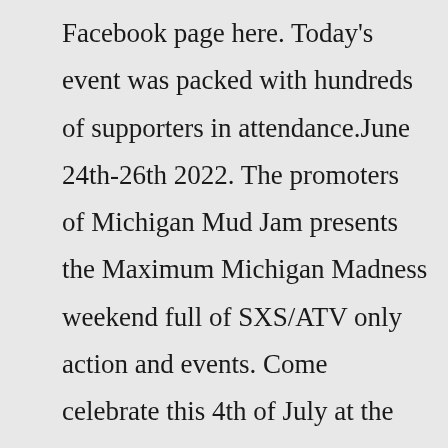Facebook page here. Today's event was packed with hundreds of supporters in attendance.June 24th-26th 2022. The promoters of Michigan Mud Jam presents the Maximum Michigan Madness weekend full of SXS/ATV only action and events. Come celebrate this 4th of July at the Iosco County Fairgrounds and enjoy SXS racing, Golf Cart Flat Track racing, Show & Shine, Fireworks, Swap Meet, light shows and